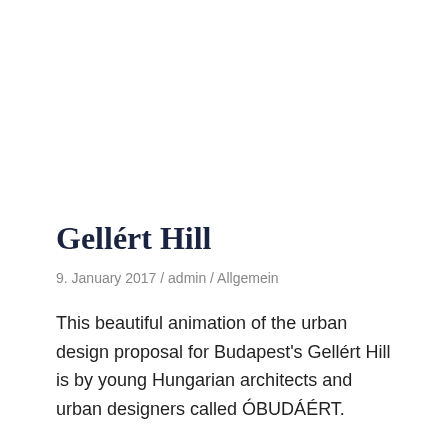Gellért Hill
9. January 2017 / admin / Allgemein
This beautiful animation of the urban design proposal for Budapest's Gellért Hill is by young Hungarian architects and urban designers called ÓBUDÁÉRT.